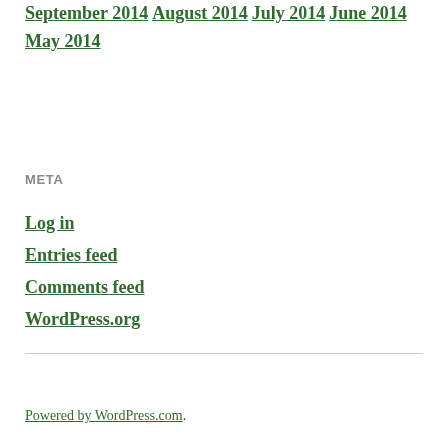September 2014
August 2014
July 2014
June 2014
May 2014
META
Log in
Entries feed
Comments feed
WordPress.org
Powered by WordPress.com.